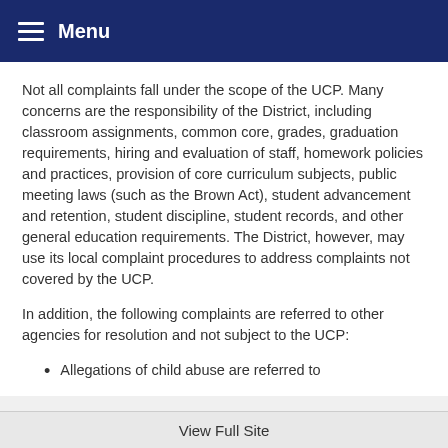Menu
Not all complaints fall under the scope of the UCP. Many concerns are the responsibility of the District, including classroom assignments, common core, grades, graduation requirements, hiring and evaluation of staff, homework policies and practices, provision of core curriculum subjects, public meeting laws (such as the Brown Act), student advancement and retention, student discipline, student records, and other general education requirements. The District, however, may use its local complaint procedures to address complaints not covered by the UCP.
In addition, the following complaints are referred to other agencies for resolution and not subject to the UCP:
Allegations of child abuse are referred to
View Full Site